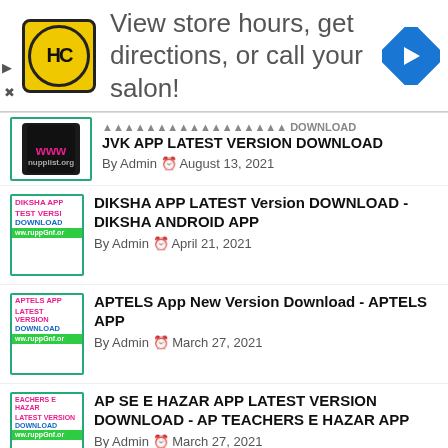[Figure (advertisement): Ad banner: HC logo (yellow circle), text 'View store hours, get directions, or call your salon!', blue diamond navigation arrow icon]
JVK APP LATEST VERSION DOWNLOAD — By Admin, August 13, 2021
DIKSHA APP LATEST Version DOWNLOAD - DIKSHA ANDROID APP — By Admin, April 21, 2021
APTELS App New Version Download - APTELS APP — By Admin, March 27, 2021
AP SE E HAZAR APP LATEST VERSION DOWNLOAD - AP TEACHERS E HAZAR APP — By Admin, March 27, 2021
Student Attendance App Latest Version DOWNLOAD - Student Attendance App — By Admin, March 27, 2021